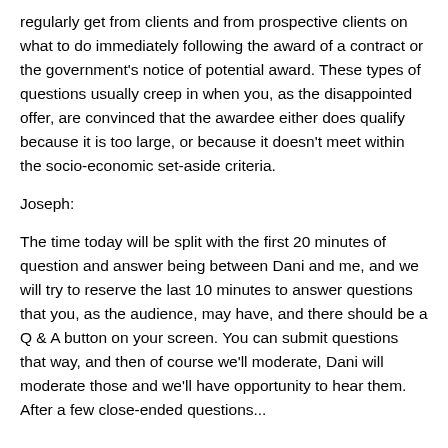regularly get from clients and from prospective clients on what to do immediately following the award of a contract or the government's notice of potential award. These types of questions usually creep in when you, as the disappointed offer, are convinced that the awardee either does qualify because it is too large, or because it doesn't meet within the socio-economic set-aside criteria.
Joseph:
The time today will be split with the first 20 minutes of question and answer being between Dani and me, and we will try to reserve the last 10 minutes to answer questions that you, as the audience, may have, and there should be a Q & A button on your screen. You can submit questions that way, and then of course we'll moderate, Dani will moderate those and we'll have opportunity to hear them. After a few close-ended questions...